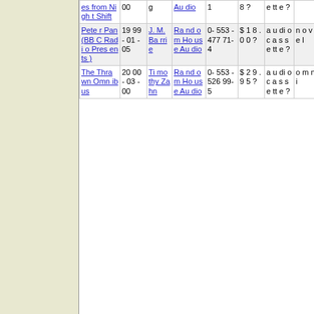| Title | Year | Author | Publisher | ISBN | Price | Format | Type |
| --- | --- | --- | --- | --- | --- | --- | --- |
| es from Night Shift | 00 | g | Audio | 1 | 8? | audiocassette? |  |
| Peter Pan (BBC Radio Presents) | 1999-01-05 | J. M. Barrie | Random House Audio | 0-553-477-71-4 | $18.00? | audiocassette? | novel |
| The Thrawn Omnibus | 2000-03-00 | Timothy Zahn | Random House Audio | 0-553-526-99-5 | $29.95? | audiocassette? | omni |